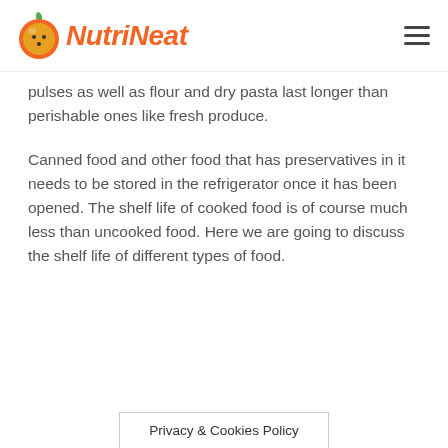NutriNeat
pulses as well as flour and dry pasta last longer than perishable ones like fresh produce.
Canned food and other food that has preservatives in it needs to be stored in the refrigerator once it has been opened. The shelf life of cooked food is of course much less than uncooked food. Here we are going to discuss the shelf life of different types of food.
Privacy & Cookies Policy